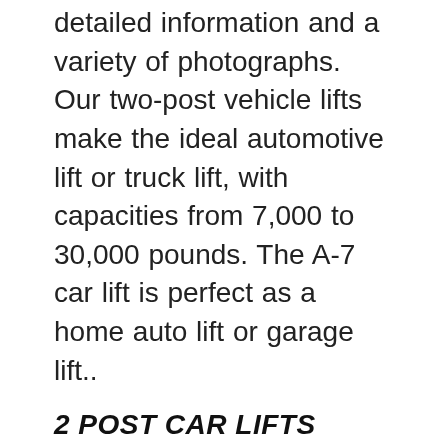detailed information and a variety of photographs. Our two-post vehicle lifts make the ideal automotive lift or truck lift, with capacities from 7,000 to 30,000 pounds. The A-7 car lift is perfect as a home auto lift or garage lift..
2 POST CAR LIFTS BEST BUY AUTOMOTIVE EQUIPMENT
[Figure (photo): Broken image placeholder with alt text: vbm automotive lift model 20000 manual]
Lift & Hoist Parts Archives Car Lift Parts. In addition, our suite of products includes comprehensive lines of two post car lifts, four post lifts, inground lifts, mobile lifts, mid and short-rise lifts, and home storage lifts. Whether youвЂ™re a car enthusiast by hobby or a working